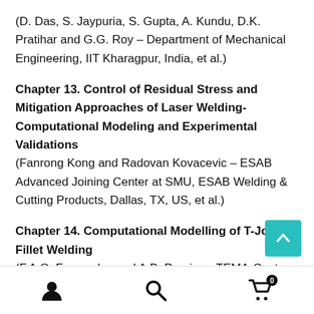(D. Das, S. Jaypuria, S. Gupta, A. Kundu, D.K. Pratihar and G.G. Roy – Department of Mechanical Engineering, IIT Kharagpur, India, et al.)
Chapter 13. Control of Residual Stress and Mitigation Approaches of Laser Welding-Computational Modeling and Experimental Validations
(Fanrong Kong and Radovan Kovacevic – ESAB Advanced Joining Center at SMU, ESAB Welding & Cutting Products, Dallas, TX, US, et al.)
Chapter 14. Computational Modelling of T-Joint Fillet Welding
(F.A.O. Fernandes and A.B. Pereira – TEMA-Centre for Mechanical Technology and Automation, Department of